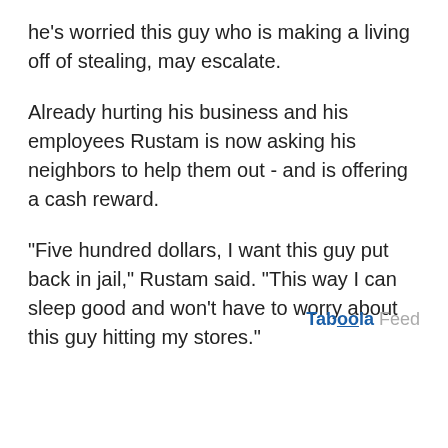he's worried this guy who is making a living off of stealing, may escalate.
Already hurting his business and his employees Rustam is now asking his neighbors to help them out - and is offering a cash reward.
"Five hundred dollars, I want this guy put back in jail," Rustam said. "This way I can sleep good and won't have to worry about this guy hitting my stores."
Taboola Feed